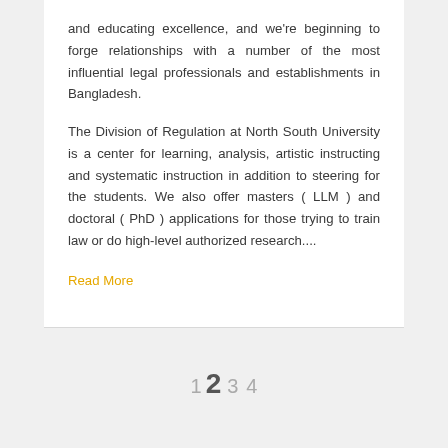and educating excellence, and we're beginning to forge relationships with a number of the most influential legal professionals and establishments in Bangladesh.

The Division of Regulation at North South University is a center for learning, analysis, artistic instructing and systematic instruction in addition to steering for the students. We also offer masters ( LLM ) and doctoral ( PhD ) applications for those trying to train law or do high-level authorized research....
Read More
1 2 3 4